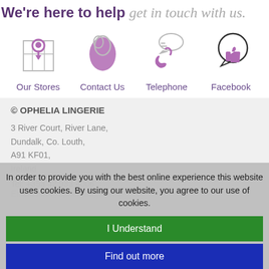We're here to help get in touch with us.
[Figure (infographic): Four icons in a row: Our Stores (map pin/map icon in purple), Contact Us (envelope/pill shape in purple), Telephone (phone with speech bubble in purple), Facebook (thumbs up in speech bubble)]
Our Stores   Contact Us   Telephone   Facebook
© OPHELIA LINGERIE
3 River Court, River Lane,
Dundalk, Co. Louth,
A91 KF01,
Ireland
Tel: +353 42 933 4006
Email: info@ophelialingerie.ie
In order to provide you with the best online experience this website uses cookies. By using our website, you agree to our use of cookies.
I Understand
Find out more